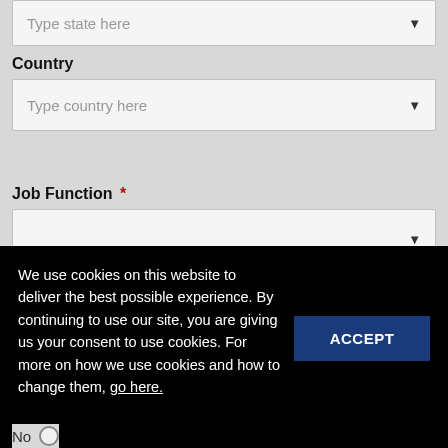Type state here
Country
Type country here
Job Function *
Phone number
We use cookies on this website to deliver the best possible experience. By continuing to use our site, you are giving us your consent to use cookies. For more on how we use cookies and how to change them, go here.
ACCEPT
No